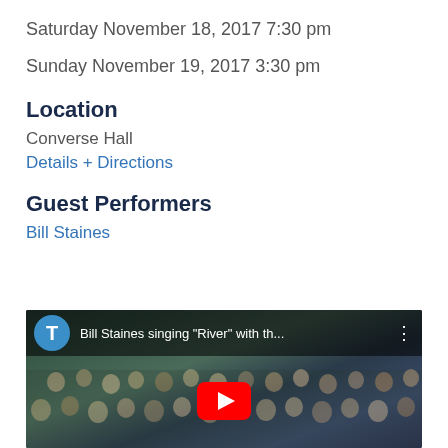Saturday November 18, 2017 7:30 pm
Sunday November 19, 2017 3:30 pm
Location
Converse Hall
Details + Directions
Guest Performers
Bill Staines
[Figure (screenshot): YouTube video thumbnail showing a choir group with overlay bar displaying 'T' circle avatar and title 'Bill Staines singing "River" with th...' with three-dot menu icon, and a red YouTube play button at the bottom center.]